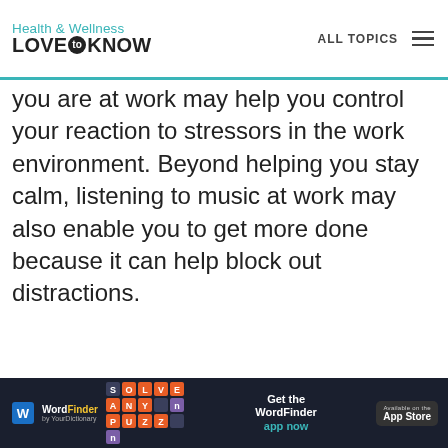Health & Wellness LOVE to KNOW — ALL TOPICS
you are at work may help you control your reaction to stressors in the work environment. Beyond helping you stay calm, listening to music at work may also enable you to get more done because it can help block out distractions.
[Figure (infographic): WordFinder app advertisement banner at the bottom of the page. Dark background with logo, letter tiles, text 'Get the WordFinder app now' and App Store badge.]